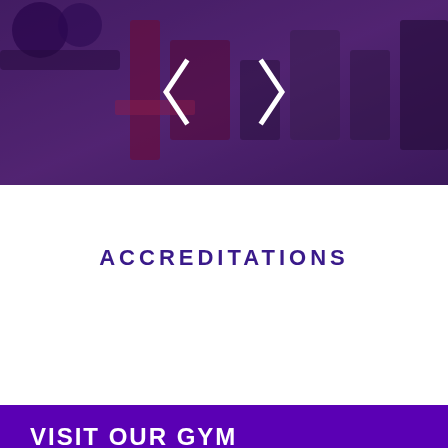[Figure (photo): Gym equipment photo with purple/dark overlay, showing weights and exercise machines. A white bracket/angle bracket logo icon is visible in the center of the image.]
ACCREDITATIONS
VISIT OUR GYM
Want to check our Academy facilities before you join us – visit our gym